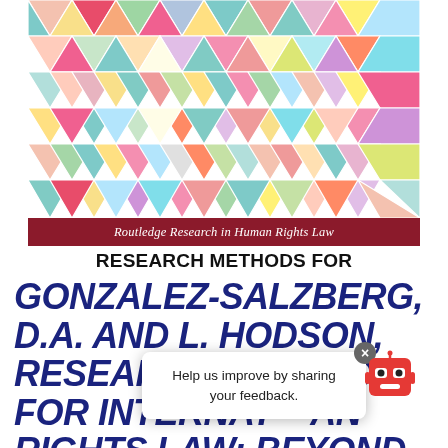[Figure (illustration): Book cover image for 'Research Methods for International Human Rights Law' from the Routledge Research in Human Rights Law series. The top portion shows a colorful geometric triangle pattern in various pastel and bright colors. Below that is a dark red/maroon banner with the series name in white italic text: 'Routledge Research in Human Rights Law'. Below the banner is a white area with the book title in large bold black text: 'RESEARCH METHODS FOR INTERNATIONAL HUMAN RIGHTS LAW'.]
GONZALEZ-SALZBERG, D.A. AND L. HODSON, RESEARCH METHODS FOR INTERNATIONAL HUMAN RIGHTS LAW: BEYOND THE TRADITIONAL PARADIGM